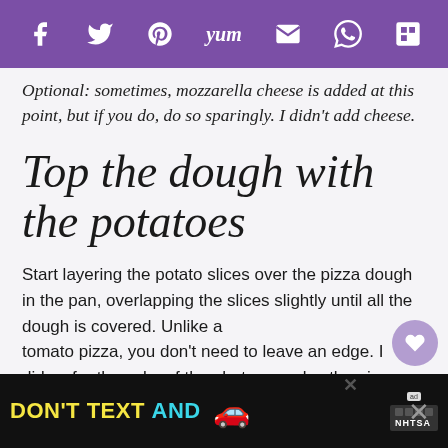Social sharing bar: Facebook, Twitter, Pinterest, Yummly, Email, WhatsApp, Flipboard
Optional: sometimes, mozzarella cheese is added at this point, but if you do, do so sparingly. I didn't add cheese.
Top the dough with the potatoes
Start layering the potato slices over the pizza dough in the pan, overlapping the slices slightly until all the dough is covered. Unlike a tomato pizza, you don't need to leave an edge. I did so for the sake of the photos, or else the pizza
[Figure (other): What's Next promo widget showing pizza sauce image with label 'WHAT'S NEXT → The best pizza sauce ever!']
[Figure (other): Advertisement banner: DON'T TEXT AND [car emoji], NHTSA branding]